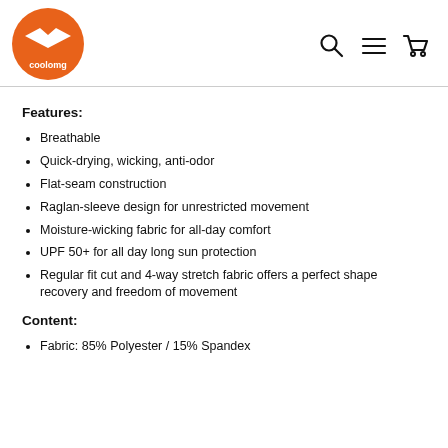coolomg logo and navigation icons
Features:
Breathable
Quick-drying, wicking, anti-odor
Flat-seam construction
Raglan-sleeve design for unrestricted movement
Moisture-wicking fabric for all-day comfort
UPF 50+ for all day long sun protection
Regular fit cut and 4-way stretch fabric offers a perfect shape recovery and freedom of movement
Content:
Fabric: 85% Polyester / 15% Spandex